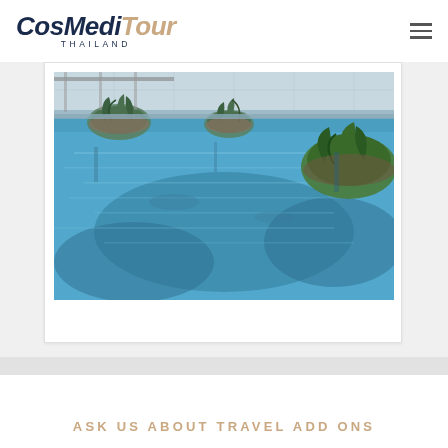CosMediTour THAILAND
[Figure (photo): Aerial view of a luxury blue swimming pool with tropical plants and reflections on the water surface]
ASK US ABOUT TRAVEL ADD ONS